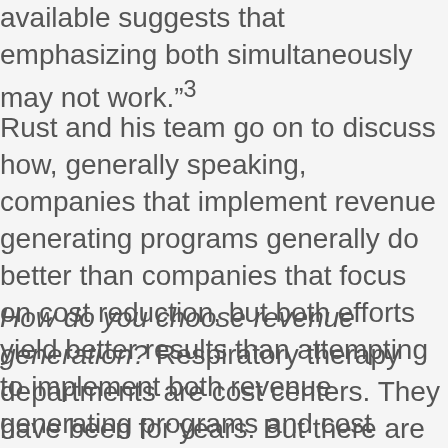available suggests that emphasizing both simultaneously may not work.”³
Rust and his team go on to discuss how, generally speaking, companies that implement revenue generating programs generally do better than companies that focus on cost reduction, but both efforts yield better results than attempting to implement both revenue generating programs and cost reduction efforts at the same time.³
How do you choose revenue generation? Respiratory therapy departments are cost centers. They have been for years. But there are still ways we can provide services to the hospital that are cost-reducing services. Can you compete with your competitors? What